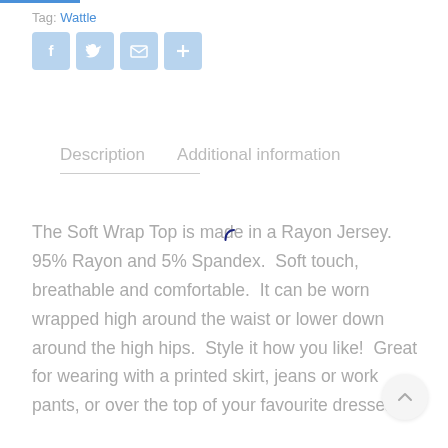Tag: Wattle
[Figure (other): Social sharing buttons: Facebook, Twitter, Email, More (+)]
Description     Additional information
The Soft Wrap Top is made in a Rayon Jersey.  95% Rayon and 5% Spandex.  Soft touch, breathable and comfortable.  It can be worn wrapped high around the waist or lower down around the high hips.  Style it how you like!  Great for wearing with a printed skirt, jeans or work pants, or over the top of your favourite dresses!